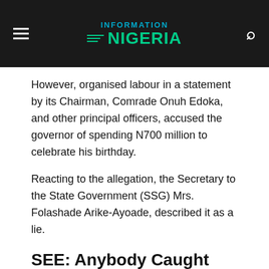INFORMATION NIGERIA
However, organised labour in a statement by its Chairman, Comrade Onuh Edoka, and other principal officers, accused the governor of spending N700 million to celebrate his birthday.
Reacting to the allegation, the Secretary to the State Government (SSG) Mrs. Folashade Arike-Ayoade, described it as a lie.
SEE: Anybody Caught Stealing Kogi People's Money Will Be Jailed
According to her, the get-together was at the instance of the political appointees, who tasked themselves to honour the "young and vibrant governor in his effort to take the state out